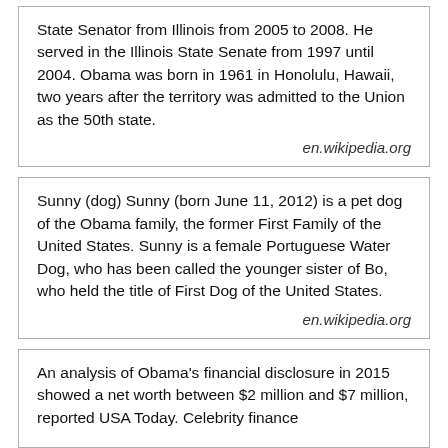State Senator from Illinois from 2005 to 2008. He served in the Illinois State Senate from 1997 until 2004. Obama was born in 1961 in Honolulu, Hawaii, two years after the territory was admitted to the Union as the 50th state.
en.wikipedia.org
Sunny (dog) Sunny (born June 11, 2012) is a pet dog of the Obama family, the former First Family of the United States. Sunny is a female Portuguese Water Dog, who has been called the younger sister of Bo, who held the title of First Dog of the United States.
en.wikipedia.org
An analysis of Obama's financial disclosure in 2015 showed a net worth between $2 million and $7 million, reported USA Today. Celebrity finance